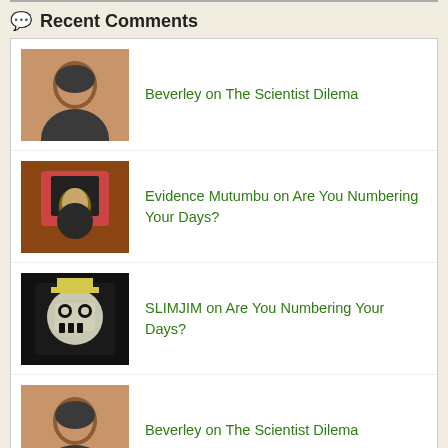Recent Comments
Beverley on The Scientist Dilema
Evidence Mutumbu on Are You Numbering Your Days?
SLIMJIM on Are You Numbering Your Days?
Beverley on The Scientist Dilema
Beverley on The Scientist Dilema
[Figure (logo): Copyrighted.com Registered & protected badge with red copyright circle icon]